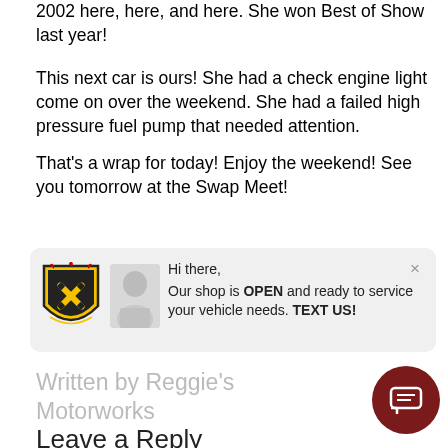2002 here, here, and here. She won Best of Show last year!
This next car is ours! She had a check engine light come on over the weekend. She had a failed high pressure fuel pump that needed attention.
That's a wrap for today! Enjoy the weekend! See you tomorrow at the Swap Meet!
[Figure (infographic): Chat widget with shop logo (shield with crossed wrenches in black/yellow), a man's avatar photo, and a chat bubble saying: Hi there, Our shop is OPEN and ready to service your vehicle needs. TEXT US! with a close X button.]
Written by Reggie's Motorworks
Leave a Reply